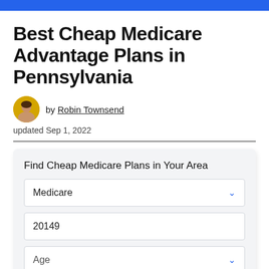Best Cheap Medicare Advantage Plans in Pennsylvania
by Robin Townsend
updated Sep 1, 2022
Find Cheap Medicare Plans in Your Area
Medicare
20149
Age